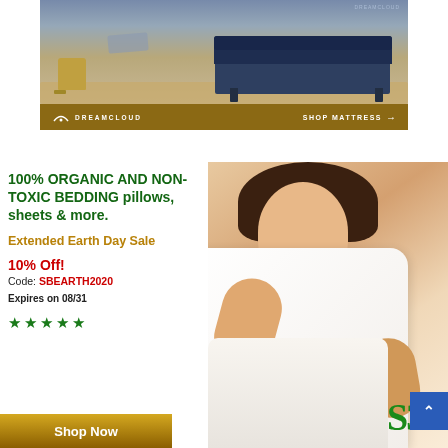[Figure (photo): DreamCloud mattress advertisement banner showing a bedroom with a dark navy mattress on a platform bed frame, with a woven basket on a wooden floor. Brown bar at bottom with DreamCloud logo and 'SHOP MATTRESS →' call to action.]
[Figure (photo): Organic bedding advertisement showing a smiling woman hugging a white pillow. Text reads: '100% ORGANIC AND NON-TOXIC BEDDING pillows, sheets & more.' Extended Earth Day Sale. 10% Off! Code: SBEARTH2020. Expires on 08/31. Five green stars. Shop Now button with gold/brown gradient. SB logo bottom right. Blue scroll-up button.]